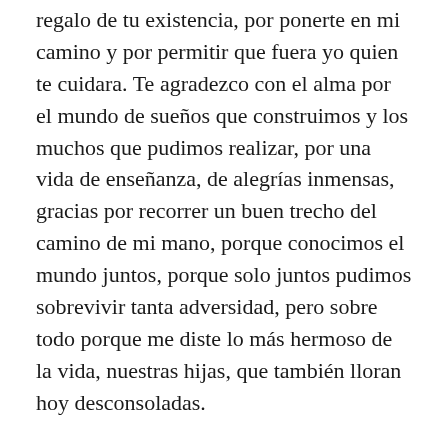regalo de tu existencia, por ponerte en mi camino y por permitir que fuera yo quien te cuidara. Te agradezco con el alma por el mundo de sueños que construimos y los muchos que pudimos realizar, por una vida de enseñanza, de alegrías inmensas, gracias por recorrer un buen trecho del camino de mi mano, porque conocimos el mundo juntos, porque solo juntos pudimos sobrevivir tanta adversidad, pero sobre todo porque me diste lo más hermoso de la vida, nuestras hijas, que también lloran hoy desconsoladas.
Gracias porque fuiste bendición en nuestras vidas y nos hiciste mejores seres humanos; ¡por la paciencia con tu hijas y conmigo! Por el mundo de